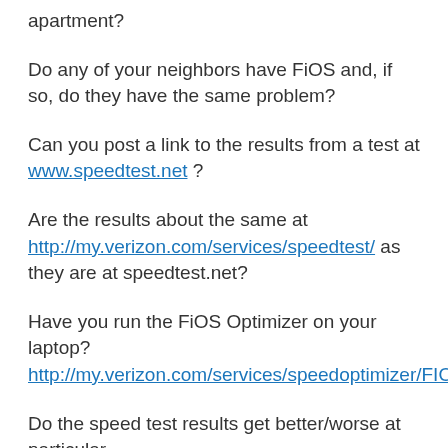apartment?
Do any of your neighbors have FiOS and, if so, do they have the same problem?
Can you post a link to the results from a test at www.speedtest.net ?
Are the results about the same at http://my.verizon.com/services/speedtest/ as they are at speedtest.net?
Have you run the FiOS Optimizer on your laptop? http://my.verizon.com/services/speedoptimizer/FIOS/
Do the speed test results get better/worse at particular